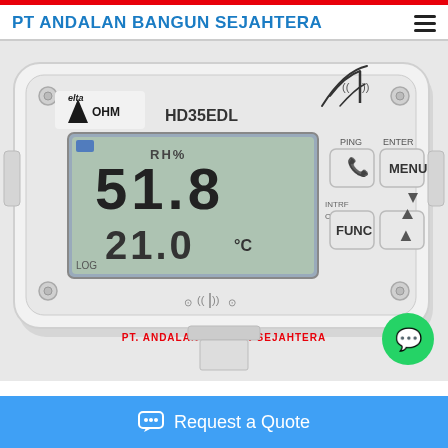PT ANDALAN BANGUN SEJAHTERA
[Figure (photo): Delta OHM HD35EDL wireless data logger device with LCD display showing 51.8 RH% and 21.0°C, with buttons PING, ENTER/MENU, FUNC, and up arrow. White casing with screws at corners. Bottom reads PT. ANDALAN BANGUN SEJAHTERA.]
Request a Quote